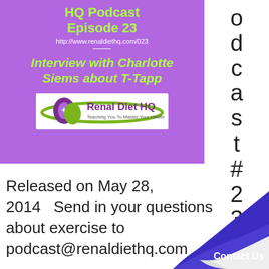HQ Podcast Episode 23
http://www.renaldiethq.com/023
[Figure (infographic): Interview with Charlotte Siems about T-Tapp text on purple background with Renal Diet HQ logo]
[Figure (logo): Renal Diet HQ logo - purple kidney shape with star and green swoosh, text Teaching You To Master Your Health]
o d c a s t # 2 3
Released on May 28, 2014   Send in your questions about exercise to podcast@renaldiethq.com
[Figure (illustration): Page curl in bottom right corner with Contact Us button on dark blue/purple background]